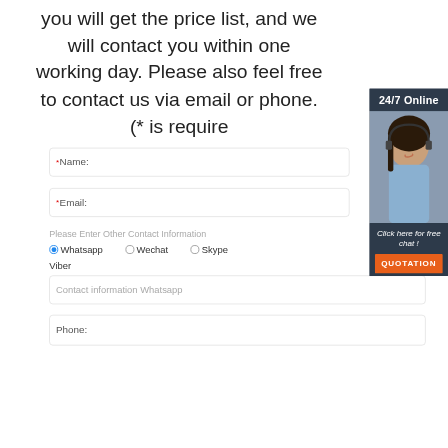you will get the price list, and we will contact you within one working day. Please also feel free to contact us via email or phone. (* is required)
[Figure (photo): Customer service representative with headset, smiling, with '24/7 Online' header and 'Click here for free chat!' text and orange QUOTATION button]
* Name:
* Email:
Please Enter Other Contact Information
Whatsapp
Wechat
Skype
Viber
Contact information Whatsapp
Phone: